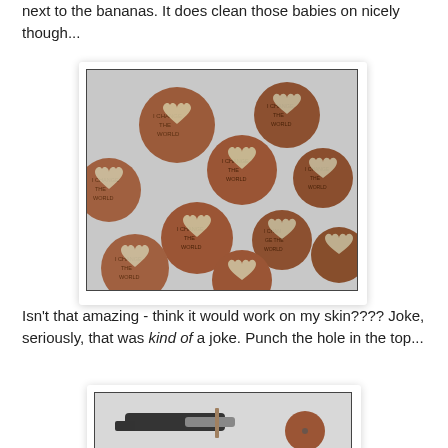next to the bananas. It does clean those babies on nicely though...
[Figure (photo): Multiple copper pennies/coins with silver heart shapes on them and text 'I Change The World' stamped into each coin, arranged on a light surface.]
Isn't that amazing - think it would work on my skin???? Joke, seriously, that was kind of a joke.  Punch the hole in the top...
[Figure (photo): A hole punch tool being used on a copper penny/coin to punch a hole in the top of it.]